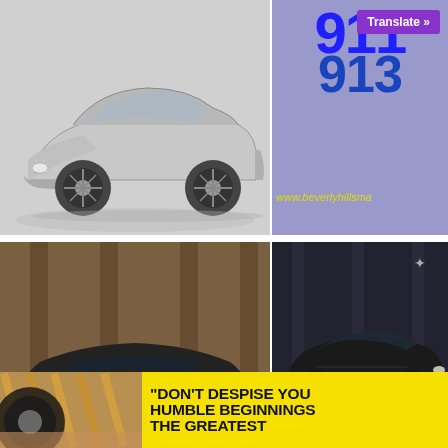[Figure (photo): Silver Porsche 911 car viewed from front-left angle on white/grey background]
[Figure (screenshot): Purple Translate button, large blue '911' and blue '913' text, partial URL www.beverlyhillsma... on blue-grey background]
[Figure (photo): Dark/black Porsche 911 rear view in warm-toned interior setting with '50.' badge visible]
[Figure (photo): Black Porsche 911 side view in dark urban/architectural setting]
[Figure (photo): Close-up of wheel/tire detail with golden rods, warm tones]
"DON'T DESPISE YOU HUMBLE BEGINNINGS THE GREATEST